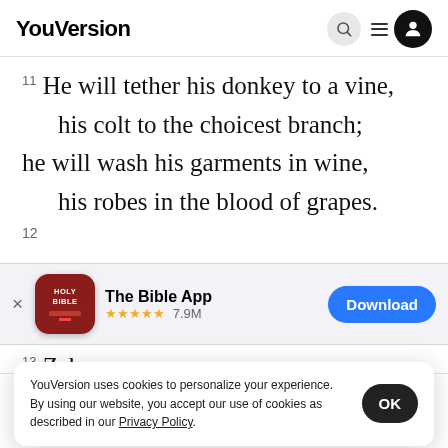YouVersion
11 He will tether his donkey to a vine,
    his colt to the choicest branch;
he will wash his garments in wine,
    his robes in the blood of grapes.
12
[Figure (screenshot): App download banner for The Bible App with Holy Bible icon, 5-star rating, 7.9M reviews, and a Download button]
13 Zebu...
and b...
YouVersion uses cookies to personalize your experience. By using our website, you accept our use of cookies as described in our Privacy Policy.
Home  Bible  Plans  Videos